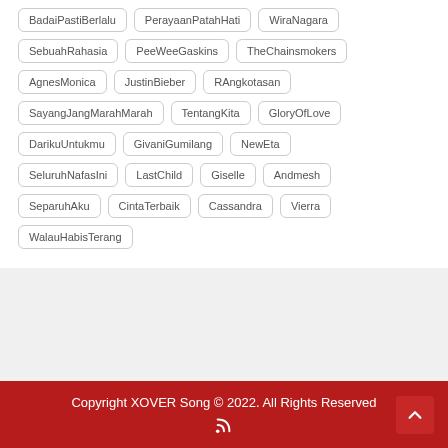BadaiPastiBerlalu
PerayaanPatahHati
WiraNagara
SebuahRahasia
PeeWeeGaskins
TheChainsmokers
AgnesMonica
JustinBieber
RAngkotasan
SayangJangMarahMarah
TentangKita
GloryOfLove
DarikuUntukmu
GivaniGumilang
NewEta
SeluruhNafasIni
LastChild
Giselle
Andmesh
SeparuhAku
CintaTerbaik
Cassandra
Vierra
WalauHabisTerang
Copyright XOVER Song © 2022. All Rights Reserved